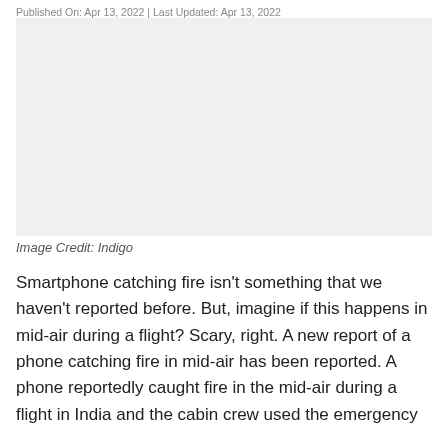Published On: Apr 13, 2022 | Last Updated: Apr 13, 2022
[Figure (photo): Blank/white image placeholder area for an Indigo airline flight photo]
Image Credit: Indigo
Smartphone catching fire isn't something that we haven't reported before. But, imagine if this happens in mid-air during a flight? Scary, right. A new report of a phone catching fire in mid-air has been reported. A phone reportedly caught fire in the mid-air during a flight in India and the cabin crew used the emergency